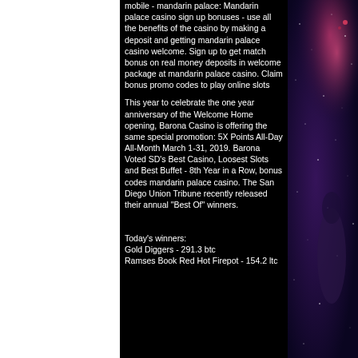mobile - mandarin palace: Mandarin palace casino sign up bonuses - use all the benefits of the casino by making a deposit and getting mandarin palace casino welcome. Sign up to get match bonus on real money deposits in welcome package at mandarin palace casino. Claim bonus promo codes to play online slots
This year to celebrate the one year anniversary of the Welcome Home opening, Barona Casino is offering the same special promotion: 5X Points All-Day All-Month March 1-31, 2019. Barona Voted SD's Best Casino, Loosest Slots and Best Buffet - 8th Year in a Row, bonus codes mandarin palace casino. The San Diego Union Tribune recently released their annual "Best Of" winners.
Today's winners:
Gold Diggers - 291.3 btc
Ramses Book Red Hot Firepot - 154.2 ltc
[Figure (photo): Space background with nebula, stars, and a performer/astronaut figure on the right side of the page]